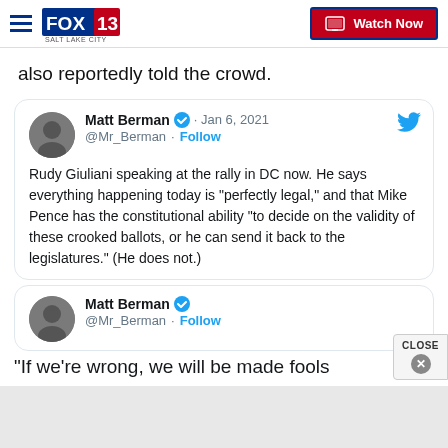FOX 13 SALT LAKE CITY | Watch Now
also reportedly told the crowd.
[Figure (screenshot): Embedded tweet from Matt Berman (@Mr_Berman) dated Jan 6, 2021. Text: Rudy Giuliani speaking at the rally in DC now. He says everything happening today is "perfectly legal," and that Mike Pence has the constitutional ability "to decide on the validity of these crooked ballots, or he can send it back to the legislatures." (He does not.)]
[Figure (screenshot): Second embedded tweet from Matt Berman (@Mr_Berman) with partial visible text beginning: "If we're wrong, we will be made fools..."]
"If we're wrong, we will be made fools